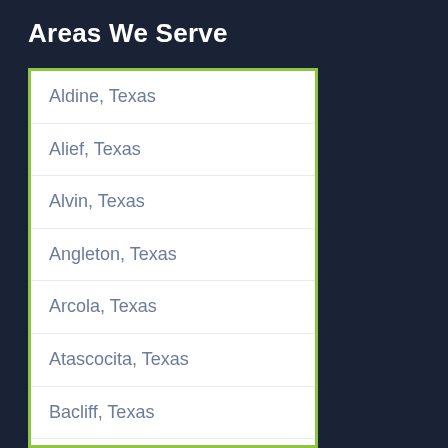Areas We Serve
Aldine, Texas
Alief, Texas
Alvin, Texas
Angleton, Texas
Arcola, Texas
Atascocita, Texas
Bacliff, Texas
Bailey Prairie, Texas
Barrett, Texas